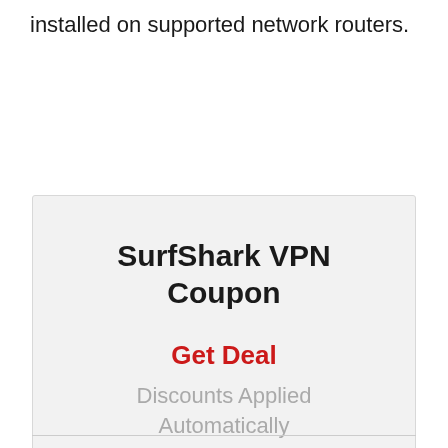installed on supported network routers.
[Figure (infographic): SurfShark VPN Coupon box with 'Get Deal' link and 'Discounts Applied Automatically' subtext on a light grey background]
Get Deal
Discounts Applied Automatically